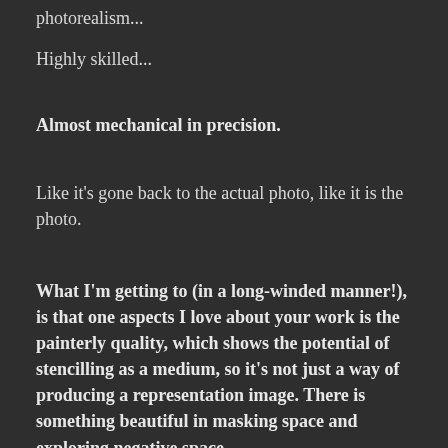photorealism...
Highly skilled...
Almost mechanical in precision.
Like it's gone back to the actual photo, like it is the photo.
What I'm getting to (in a long-winded manner!), is that one aspects I love about your work is the painterly quality, which shows the potential of stencilling as a medium, so it's not just a way of producing a representation image. There is something beautiful in masking space and exploring negative space.